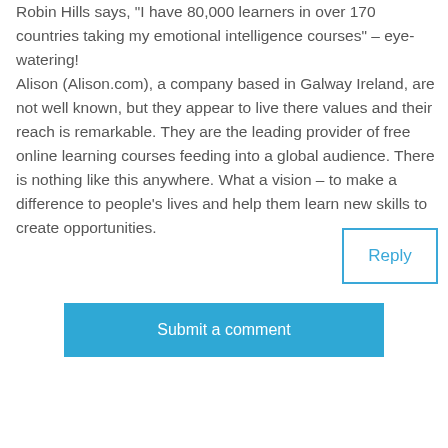Robin Hills says, "I have 80,000 learners in over 170 countries taking my emotional intelligence courses" – eye-watering! Alison (Alison.com), a company based in Galway Ireland, are not well known, but they appear to live there values and their reach is remarkable. They are the leading provider of free online learning courses feeding into a global audience. There is nothing like this anywhere. What a vision – to make a difference to people's lives and help them learn new skills to create opportunities.
Reply
Submit a comment